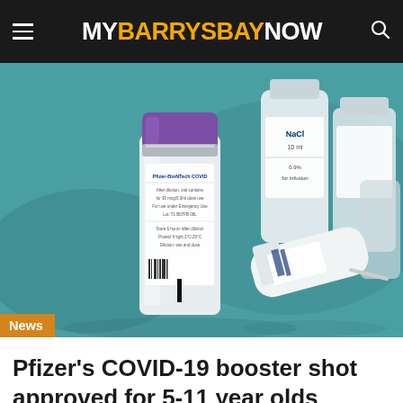MY BARRYSBAY NOW
[Figure (photo): Close-up photo of Pfizer-BioNTech COVID-19 vaccine vials and syringes on a teal surface, with NaCl solution bottles in the background.]
Pfizer's COVID-19 booster shot approved for 5-11 year olds